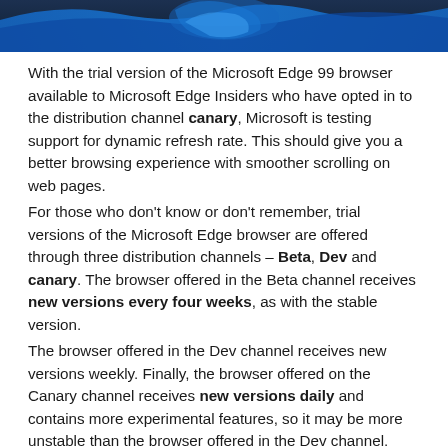[Figure (illustration): Microsoft Edge browser logo/header graphic with blue wave design on dark background]
With the trial version of the Microsoft Edge 99 browser available to Microsoft Edge Insiders who have opted in to the distribution channel canary, Microsoft is testing support for dynamic refresh rate. This should give you a better browsing experience with smoother scrolling on web pages.
For those who don't know or don't remember, trial versions of the Microsoft Edge browser are offered through three distribution channels – Beta, Dev and canary. The browser offered in the Beta channel receives new versions every four weeks, as with the stable version.
The browser offered in the Dev channel receives new versions weekly. Finally, the browser offered on the Canary channel receives new versions daily and contains more experimental features, so it may be more unstable than the browser offered in the Dev channel. Users interested in